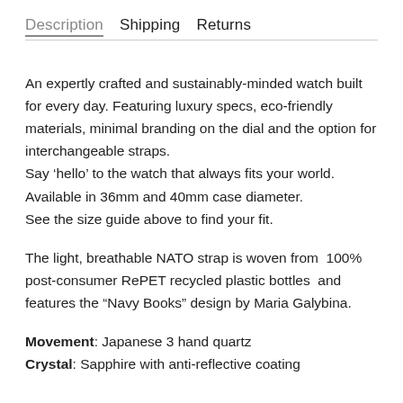Description  Shipping  Returns
An expertly crafted and sustainably-minded watch built for every day. Featuring luxury specs, eco-friendly materials, minimal branding on the dial and the option for interchangeable straps.
Say ‘hello’ to the watch that always fits your world.
Available in 36mm and 40mm case diameter.
See the size guide above to find your fit.
The light, breathable NATO strap is woven from  100% post-consumer RePET recycled plastic bottles  and features the "Navy Books" design by Maria Galybina.
Movement: Japanese 3 hand quartz
Crystal: Sapphire with anti-reflective coating